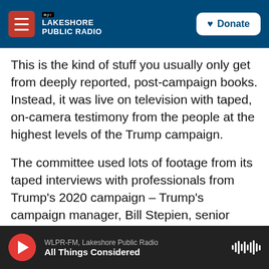NPR Lakeshore Public Radio | Donate
This is the kind of stuff you usually only get from deeply reported, post-campaign books. Instead, it was live on television with taped, on-camera testimony from the people at the highest levels of the Trump campaign.
The committee used lots of footage from its taped interviews with professionals from Trump's 2020 campaign – Trump's campaign manager, Bill Stepien, senior adviser Jason Miller and multiple lawyers. (Stepien was originally scheduled to testify in person but was unable to do so because his wife went into labor.) Stepien said he was
WLPR-FM, Lakeshore Public Radio | All Things Considered